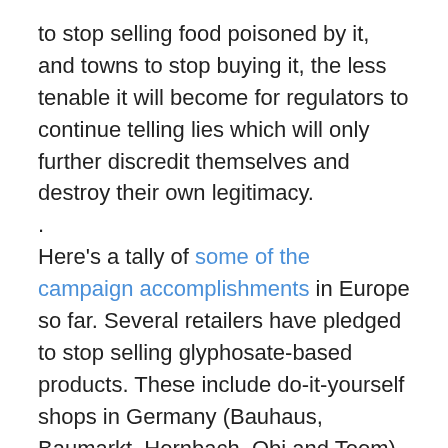to stop selling food poisoned by it, and towns to stop buying it, the less tenable it will become for regulators to continue telling lies which will only further discredit themselves and destroy their own legitimacy.
.
Here's a tally of some of the campaign accomplishments in Europe so far. Several retailers have pledged to stop selling glyphosate-based products. These include do-it-yourself shops in Germany (Bauhaus, Baumarkt, Hornbach, Obi and Toom), Switzerland (Coop, Migros), Austria (Bauhaus, Bellaflora) and Luxembourg (Cactus, Profi Zentrum). In the Netherlands, major garden centres and DIY shops have stopped selling glyphosate, including Intratuin, Praxis, Groenrijk, Ranzijn and Hornbach. Several cities including Edinburgh (Scotland), Barcelona (Spain), Hamburg (Germany), Rennes (France), Rovereto and